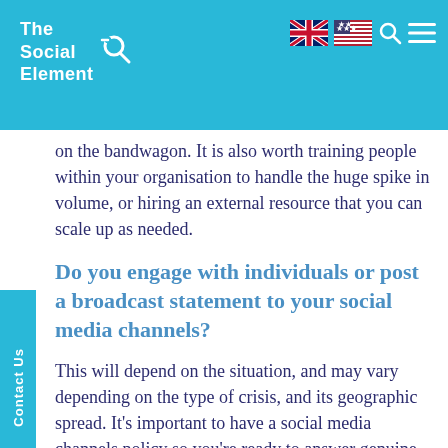The Social Element
on the bandwagon. It is also worth training people within your organisation to handle the huge spike in volume, or hiring an external resource that you can scale up as needed.
Do you engage with individuals or post a broadcast statement to your social media channels?
This will depend on the situation, and may vary depending on the type of crisis, and its geographic spread. It’s important to have a social media channels policy so you’re ready to answer genuine customer queries and filter out social media posts that are just noise. Monitor for what’s being said about the crisis –